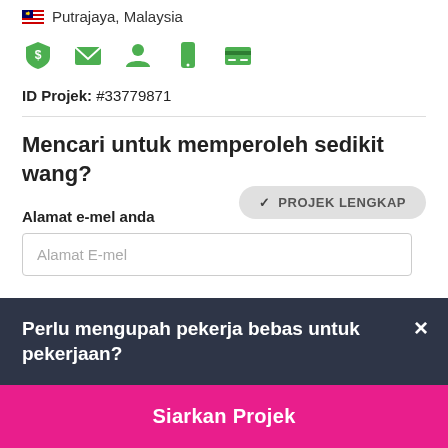Putrajaya, Malaysia
[Figure (infographic): Row of 5 green verification/profile icons: shield with dollar, envelope, person, phone, credit card]
ID Projek: #33779871
Mencari untuk memperoleh sedikit wang?
✓ PROJEK LENGKAP
Alamat e-mel anda
Alamat E-mel
Perlu mengupah pekerja bebas untuk pekerjaan?
Siarkan Projek